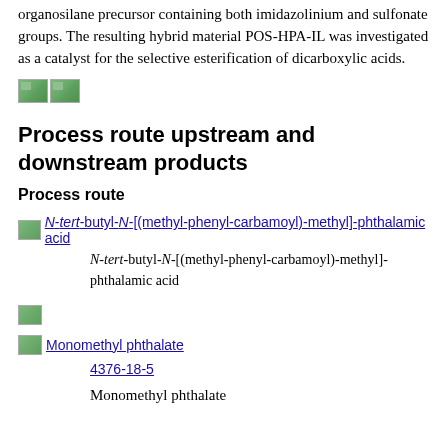organosilane precursor containing both imidazolinium and sulfonate groups. The resulting hybrid material POS-HPA-IL was investigated as a catalyst for the selective esterification of dicarboxylic acids.
[Figure (illustration): Two small broken/placeholder images side by side (green icon thumbnails)]
Process route upstream and downstream products
Process route
[Figure (illustration): Linked image with text: N-tert-butyl-N-[(methyl-phenyl-carbamoyl)-methyl]-phthalamic acid]
N-tert-butyl-N-[(methyl-phenyl-carbamoyl)-methyl]-phthalamic acid
[Figure (illustration): Small broken/placeholder image (green icon thumbnail)]
[Figure (illustration): Linked image: Monomethyl phthalate]
4376-18-5
Monomethyl phthalate